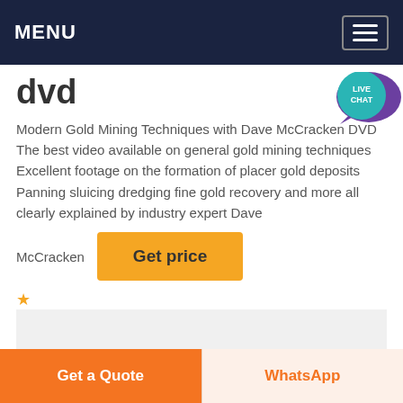MENU
dvd
Modern Gold Mining Techniques with Dave McCracken DVD The best video available on general gold mining techniques Excellent footage on the formation of placer gold deposits Panning sluicing dredging fine gold recovery and more all clearly explained by industry expert Dave McCracken
[Figure (illustration): Live Chat speech bubble icon with text LIVE CHAT in teal/purple colors]
[Figure (illustration): Get price button in amber/yellow color]
[Figure (photo): Gray image placeholder area]
Get a Quote  WhatsApp